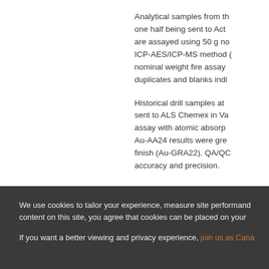Analytical samples from the core are split in half with one half being sent to Act... are assayed using 50 g nominal weight ICP-AES/ICP-MS method (...) nominal weight fire assay... duplicates and blanks indi...
Historical drill samples at... sent to ALS Chemex in Va... assay with atomic absorp... Au-AA24 results were gre... finish (Au-GRA22). QA/QC... accuracy and precision.
We use cookies to tailor your experience, measure site performand... content on this site, you agree that cookies can be placed on your...
If you want a better viewing and privacy experience, join us as Cana...